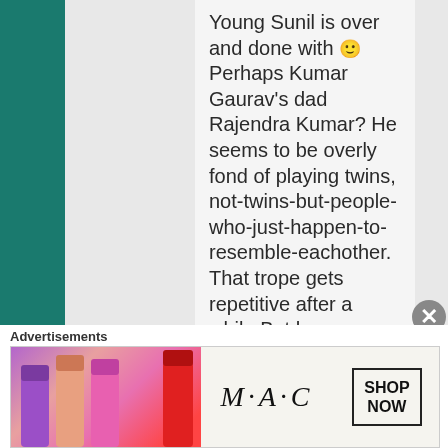Young Sunil is over and done with 🙂 Perhaps Kumar Gaurav's dad Rajendra Kumar? He seems to be overly fond of playing twins, not-twins-but-people-who-just-happen-to-resemble-eachother. That trope gets repetitive after a while But he
Advertisements
[Figure (other): MAC cosmetics advertisement banner showing colorful lipsticks on the left, MAC logo in the center, and a SHOP NOW button on the right]